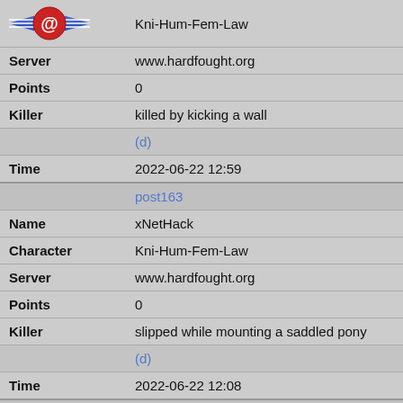| Field | Value |
| --- | --- |
| Character | Kni-Hum-Fem-Law |
| Server | www.hardfought.org |
| Points | 0 |
| Killer | killed by kicking a wall |
|  | (d) |
| Time | 2022-06-22 12:59 |
|  | post163 |
| Name | xNetHack |
| Character | Kni-Hum-Fem-Law |
| Server | www.hardfought.org |
| Points | 0 |
| Killer | slipped while mounting a saddled pony |
|  | (d) |
| Time | 2022-06-22 12:08 |
|  | musicdemon |
| Name | xNetHack |
| Character | Arc-Dwa-Mal-Law |